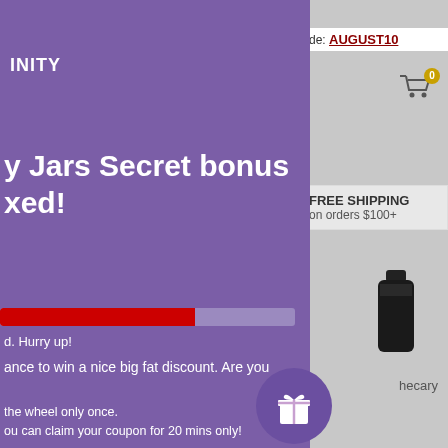[Figure (screenshot): E-commerce website screenshot showing a purple popup overlay on a grey website background. The popup has a promotional message about a secret bonus and a spin-the-wheel discount offer. The right side shows the website with a promo code AUGUST10, a shopping cart with 0 items, a Free Shipping on orders $100+ banner, a product bottle image, and an apothecary label.]
ITY
de: AUGUST10
0
FREE SHIPPING
on orders $100+
y Jars Secret bonus
xed!
d. Hurry up!
ance to win a nice big fat discount. Are you
the wheel only once.
ou can claim your coupon for 20 mins only!
TRY YOUR LUCK
hecary